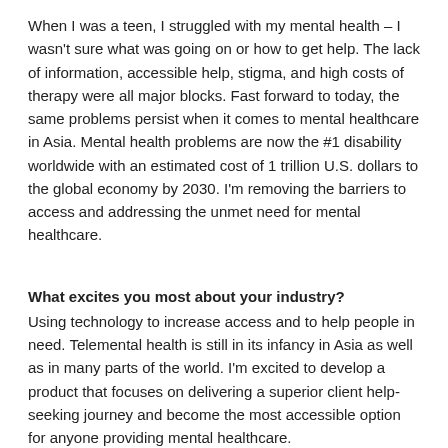When I was a teen, I struggled with my mental health – I wasn't sure what was going on or how to get help. The lack of information, accessible help, stigma, and high costs of therapy were all major blocks. Fast forward to today, the same problems persist when it comes to mental healthcare in Asia. Mental health problems are now the #1 disability worldwide with an estimated cost of 1 trillion U.S. dollars to the global economy by 2030. I'm removing the barriers to access and addressing the unmet need for mental healthcare.
What excites you most about your industry?
Using technology to increase access and to help people in need. Telemental health is still in its infancy in Asia as well as in many parts of the world. I'm excited to develop a product that focuses on delivering a superior client help-seeking journey and become the most accessible option for anyone providing mental healthcare.
What is your connection to Asia?